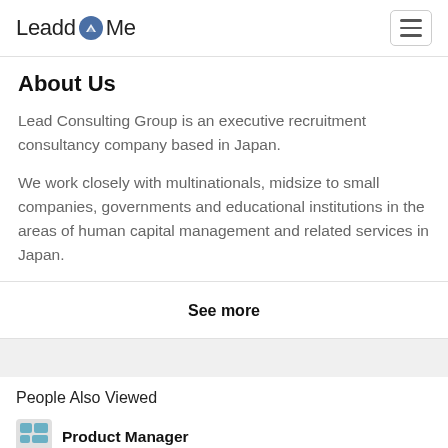LeaddMe
About Us
Lead Consulting Group is an executive recruitment consultancy company based in Japan.
We work closely with multinationals, midsize to small companies, governments and educational institutions in the areas of human capital management and related services in Japan.
See more
People Also Viewed
Product Manager